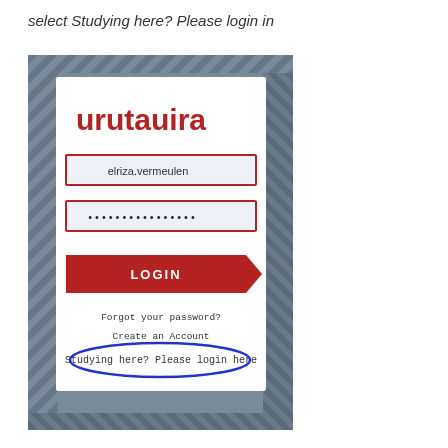select Studying here? Please login in
[Figure (screenshot): Screenshot of urutauira login page showing username field with 'elriza.vermeulen', password field with dots, a red LOGIN arrow button, 'Forgot your password?' link, 'Create an Account' link, and 'Studying here? Please login here' link circled in blue. Background has diagonal stripe pattern in dark teal/slate.]